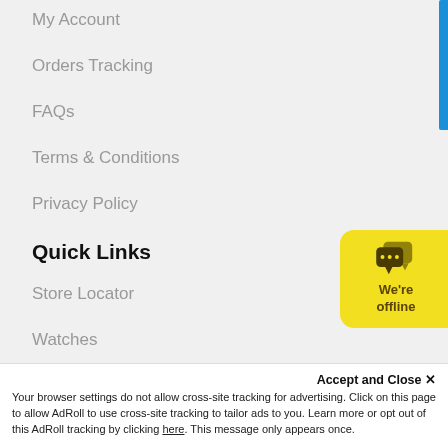My Account
Orders Tracking
FAQs
Terms & Conditions
Privacy Policy
Quick Links
Store Locator
Watches
Parts
Jewellery
[Figure (infographic): Chat widget showing offline status with yellow background and speech bubble icon, text: We're offline]
Accept and Close ✕
Your browser settings do not allow cross-site tracking for advertising. Click on this page to allow AdRoll to use cross-site tracking to tailor ads to you. Learn more or opt out of this AdRoll tracking by clicking here. This message only appears once.